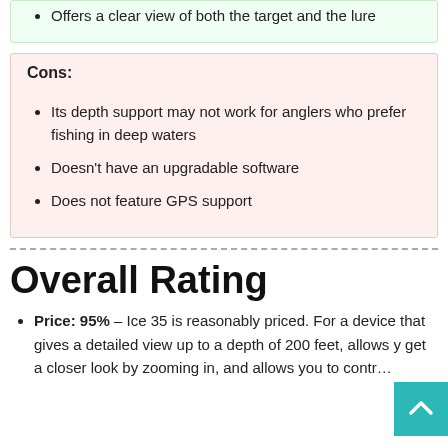Offers a clear view of both the target and the lure
Cons:
Its depth support may not work for anglers who prefer fishing in deep waters
Doesn’t have an upgradable software
Does not feature GPS support
Overall Rating
Price: 95% – Ice 35 is reasonably priced. For a device that gives a detailed view up to a depth of 200 feet, allows you get a closer look by zooming in, and allows you to control